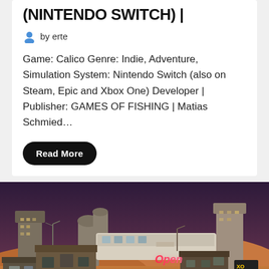(NINTENDO SWITCH) |
by erte
Game: Calico Genre: Indie, Adventure, Simulation System: Nintendo Switch (also on Steam, Epic and Xbox One) Developer | Publisher: GAMES OF FISHING | Matias Schmied…
Read More
[Figure (illustration): A post-apocalyptic or dystopian game scene showing a sprawling shantytown settlement with makeshift structures, neon signs (including 'Open' in red neon), sandy/desert terrain, and dark purple stormy sky. Buildings range from medieval-style stone towers in the background to corrugated metal shacks in the foreground, with various signs and debris scattered around.]